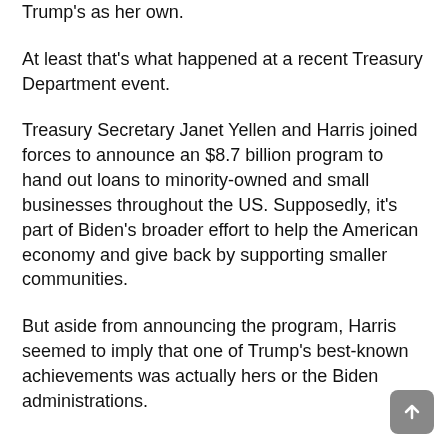Trump's as her own.
At least that's what happened at a recent Treasury Department event.
Treasury Secretary Janet Yellen and Harris joined forces to announce an $8.7 billion program to hand out loans to minority-owned and small businesses throughout the US. Supposedly, it's part of Biden's broader effort to help the American economy and give back by supporting smaller communities.
But aside from announcing the program, Harris seemed to imply that one of Trump's best-known achievements was actually hers or the Biden administrations.